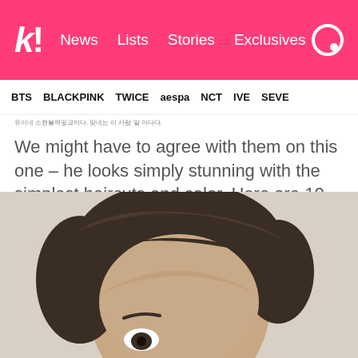k! News Lists Stories Exclusives
BTS   BLACKPINK   TWICE   aespa   NCT   IVE   SEVE
유이네 소현블랙핑크이다. 맞네는 이 사람 알 마다다.
We might have to agree with them on this one – he looks simply stunning with the simplest haircuts and color. Here are 10 times Taeil has slayed us all with his visuals.
[Figure (photo): Close-up portrait photo of a young man with dark brown medium-length hair swept to the side, against a beige/cream background. Only the upper portion of the face is fully visible.]